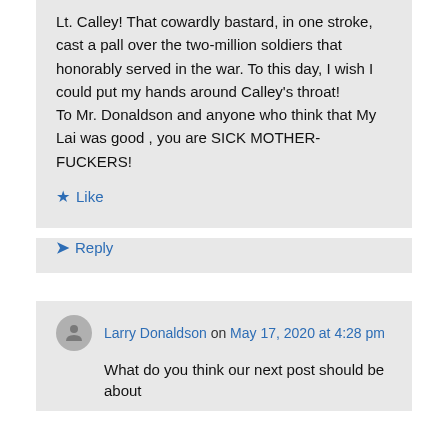Lt. Calley! That cowardly bastard, in one stroke, cast a pall over the two-million soldiers that honorably served in the war. To this day, I wish I could put my hands around Calley's throat!
To Mr. Donaldson and anyone who think that My Lai was good , you are SICK MOTHER-FUCKERS!
Like
Reply
Larry Donaldson on May 17, 2020 at 4:28 pm
What do you think our next post should be about